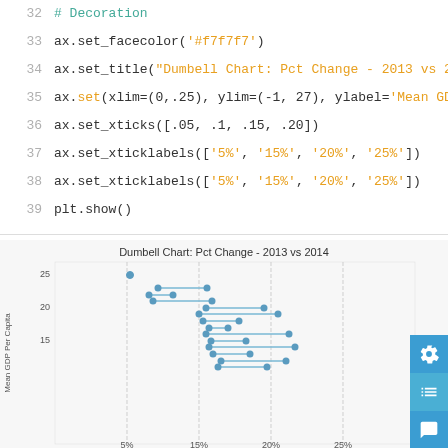32  # Decoration
33  ax.set_facecolor('#f7f7f7')
34  ax.set_title("Dumbell Chart: Pct Change - 2013 vs 2014", fo
35  ax.set(xlim=(0,.25), ylim=(-1, 27), ylabel='Mean GDP Per C
36  ax.set_xticks([.05, .1, .15, .20])
37  ax.set_xticklabels(['5%', '15%', '20%', '25%'])
38  ax.set_xticklabels(['5%', '15%', '20%', '25%'])
39  plt.show()
[Figure (other): Dumbell Chart: Pct Change - 2013 vs 2014. A dumbbell/dot plot showing Mean GDP Per Capita on y-axis (range ~13 to 27) and percentage on x-axis. Multiple horizontal dumbbell lines connecting two dots each, representing 2013 and 2014 values for various countries/regions.]